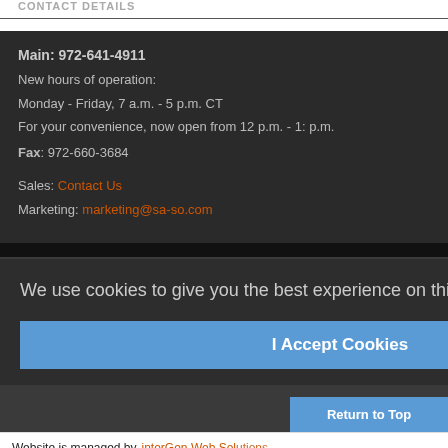CONTACT DETAILS
Main: 972-641-4911
New hours of operation:
Monday - Friday, 7 a.m. - 5 p.m. CT
For your convenience, now open from 12 p.m. - 1: p.m.
Fax: 972-660-3684
Sales: Contact Us
Marketing: marketing@sa-so.com
We use cookies to give you the best experience on this website. Privacy Policy
I Accept Cookies
Terms and Conditions | Warranty | Privacy Policy | Admin
Website is managed by interGen Web Solutions